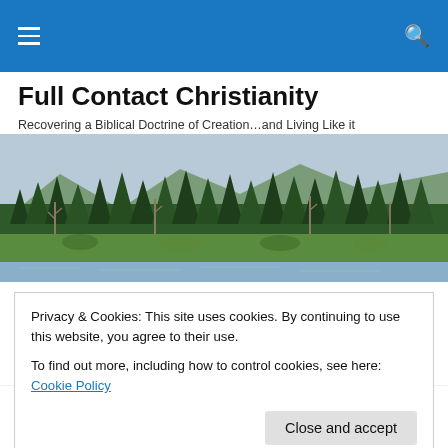Full Contact Christianity — navigation bar
Full Contact Christianity
Recovering a Biblical Doctrine of Creation…and Living Like it
[Figure (photo): Panoramic photo of a forested mountainous landscape with evergreen trees, green meadow, and a lake or river in the foreground under a pale sky.]
Privacy & Cookies: This site uses cookies. By continuing to use this website, you agree to their use.
To find out more, including how to control cookies, see here: Cookie Policy
cast out demons, healed the sick, baptized converts